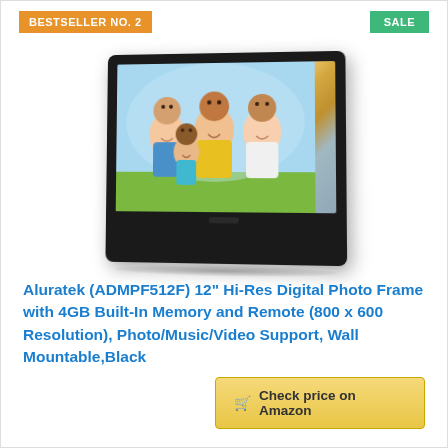BESTSELLER NO. 2
SALE
[Figure (photo): Digital photo frame (Aluratek ADMPF512F) with black bezel displaying a family photo of two adults and two children smiling outdoors]
Aluratek (ADMPF512F) 12" Hi-Res Digital Photo Frame with 4GB Built-In Memory and Remote (800 x 600 Resolution), Photo/Music/Video Support, Wall Mountable,Black
Check price on Amazon